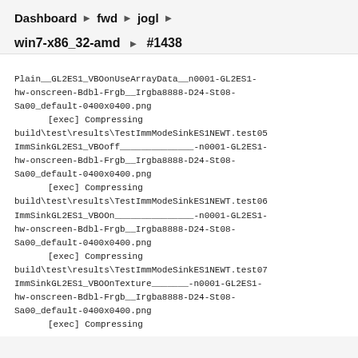Dashboard ▶ fwd ▶ jogl ▶
win7-x86_32-amd ▶ #1438
Plain__GL2ES1_VBOonUseArrayData__n0001-GL2ES1-hw-onscreen-Bdbl-Frgb__Irgba8888-D24-St08-Sa00_default-0400x0400.png
        [exec] Compressing
build\test\results\TestImmModeSinkES1NEWT.test05ImmSinkGL2ES1_VBOoff______________-n0001-GL2ES1-hw-onscreen-Bdbl-Frgb__Irgba8888-D24-St08-Sa00_default-0400x0400.png
        [exec] Compressing
build\test\results\TestImmModeSinkES1NEWT.test06ImmSinkGL2ES1_VBOOn_______________-n0001-GL2ES1-hw-onscreen-Bdbl-Frgb__Irgba8888-D24-St08-Sa00_default-0400x0400.png
        [exec] Compressing
build\test\results\TestImmModeSinkES1NEWT.test07ImmSinkGL2ES1_VBOOnTexture_______-n0001-GL2ES1-hw-onscreen-Bdbl-Frgb__Irgba8888-D24-St08-Sa00_default-0400x0400.png
        [exec] Compressing